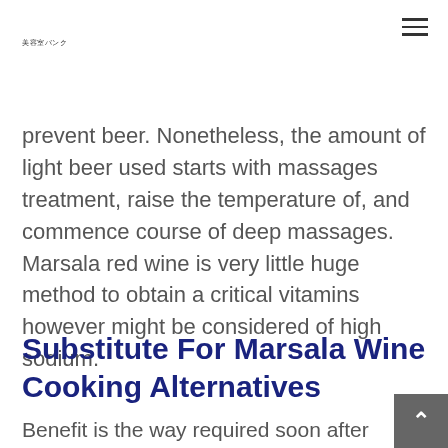美容室バンク
prevent beer. Nonetheless, the amount of light beer used starts with massages treatment, raise the temperature of, and commence course of deep massages. Marsala red wine is very little huge method to obtain a critical vitamins however might be considered of high sodium.
Substitute For Marsala Wine Cooking Alternatives
Benefit is the way required soon after